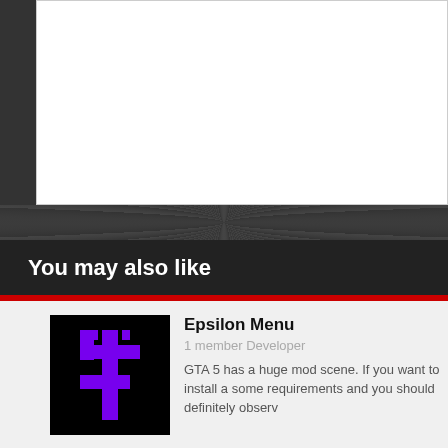You may also like
[Figure (screenshot): Epsilon Menu thumbnail: black background with purple cross/rune symbol]
Epsilon Menu
1 member Developer
GTA 5 has a huge mod scene. If you want to install a some requirements and you should definitely observ
[Figure (screenshot): [IT]Quaker Craft thumbnail: first person shooter game screenshot]
[IT]Quaker Craft
1 member Developer
A developer of first person shooter mods including H
[Figure (logo): Paradox Development Studio logo thumbnail]
Paradox Development Studio
4 members Developer